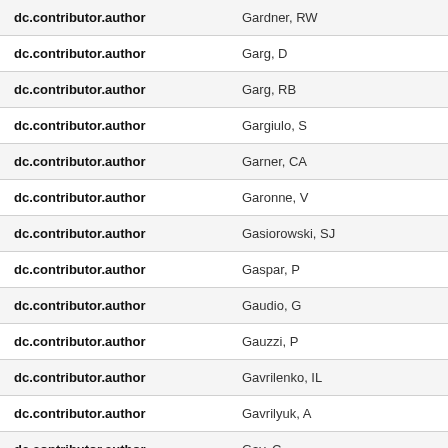| Field | Value |
| --- | --- |
| dc.contributor.author | Gardner, RW |
| dc.contributor.author | Garg, D |
| dc.contributor.author | Garg, RB |
| dc.contributor.author | Gargiulo, S |
| dc.contributor.author | Garner, CA |
| dc.contributor.author | Garonne, V |
| dc.contributor.author | Gasiorowski, SJ |
| dc.contributor.author | Gaspar, P |
| dc.contributor.author | Gaudio, G |
| dc.contributor.author | Gauzzi, P |
| dc.contributor.author | Gavrilenko, IL |
| dc.contributor.author | Gavrilyuk, A |
| dc.contributor.author | Gay, C |